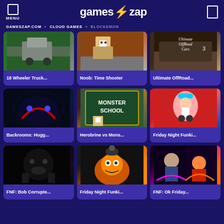MENU | games⚡zap
GAMESZAP.COM » CLOUD GAMES » BLOCKEMON
[Figure (screenshot): 18 Wheeler Truck game thumbnail - top-down road view]
18 Wheeler Truck...
[Figure (screenshot): Noob: Time Shooter game thumbnail - Minecraft style shooter]
Noob: Time Shooter
[Figure (screenshot): Ultimate OffRoad Cars game thumbnail - off road vehicle]
Ultimate OffRoad...
[Figure (screenshot): Backrooms Huggy game thumbnail - dark horror creature]
Backrooms: Hugg...
[Figure (screenshot): Herobrine vs Monster School game thumbnail]
Herobrine vs Mons...
[Figure (screenshot): Friday Night Funkin game thumbnail - anime style characters]
Friday Night Funki...
[Figure (screenshot): FNF Bob Corrupted game thumbnail - dark character]
FNF: Bob Corrupte...
[Figure (screenshot): Friday Night Funkin Tails game thumbnail - orange fox character]
Friday Night Funki...
[Figure (screenshot): FNF Ok Friday game thumbnail - real people characters]
FNF: Ok Friday...